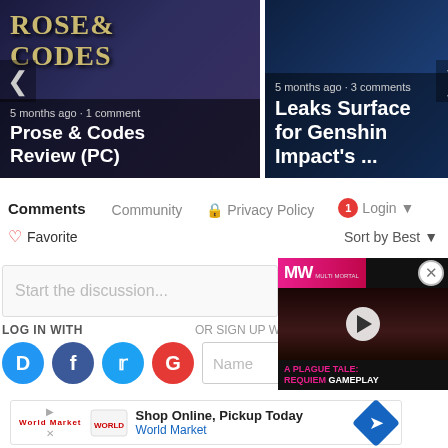[Figure (screenshot): Carousel card: Prose & Codes Review (PC) — 5 months ago, 1 comment]
[Figure (screenshot): Carousel card: Leaks Surface for Genshin Impact's ... — 5 months ago, 3 comments]
Comments  Community  Privacy Policy  1  Login
Favorite  Sort by Best
Start the discussion...
LOG IN WITH  OR SIGN UP W
[Figure (screenshot): Video overlay: MW logo, A Plague Tale: Requiem Gameplay video thumbnail with play button]
[Figure (screenshot): Ad banner: Shop Online, Pickup Today — World Market]